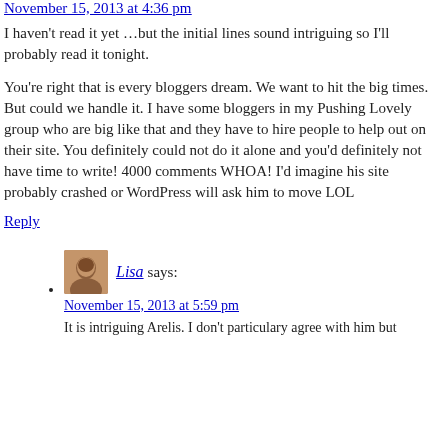November 15, 2013 at 4:36 pm
I haven't read it yet …but the initial lines sound intriguing so I'll probably read it tonight.
You're right that is every bloggers dream. We want to hit the big times. But could we handle it. I have some bloggers in my Pushing Lovely group who are big like that and they have to hire people to help out on their site. You definitely could not do it alone and you'd definitely not have time to write! 4000 comments WHOA! I'd imagine his site probably crashed or WordPress will ask him to move LOL
Reply
Lisa says:
November 15, 2013 at 5:59 pm
It is intriguing Arelis. I don't particulary agree with him but